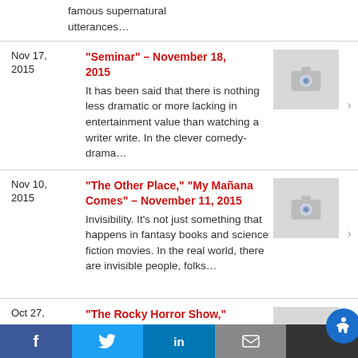famous supernatural utterances...
Nov 17, 2015 | "Seminar" – November 18, 2015 | It has been said that there is nothing less dramatic or more lacking in entertainment value than watching a writer write. In the clever comedy-drama...
Nov 10, 2015 | "The Other Place," "My Mañana Comes" – November 11, 2015 | Invisibility. It's not just something that happens in fantasy books and science fiction movies. In the real world, there are invisible people, folks...
Oct 27, | "The Rocky Horror Show,"